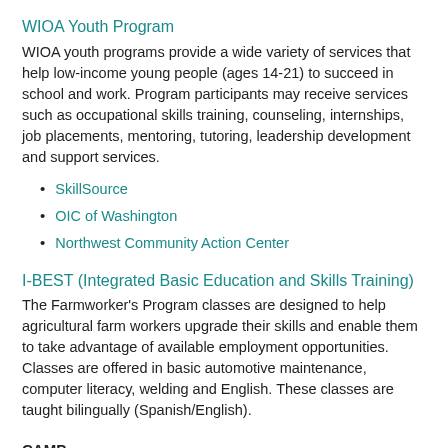WIOA Youth Program
WIOA youth programs provide a wide variety of services that help low-income young people (ages 14-21) to succeed in school and work. Program participants may receive services such as occupational skills training, counseling, internships, job placements, mentoring, tutoring, leadership development and support services.
SkillSource
OIC of Washington
Northwest Community Action Center
I-BEST (Integrated Basic Education and Skills Training)
The Farmworker's Program classes are designed to help agricultural farm workers upgrade their skills and enable them to take advantage of available employment opportunities. Classes are offered in basic automotive maintenance, computer literacy, welding and English. These classes are taught bilingually (Spanish/English).
CAMP